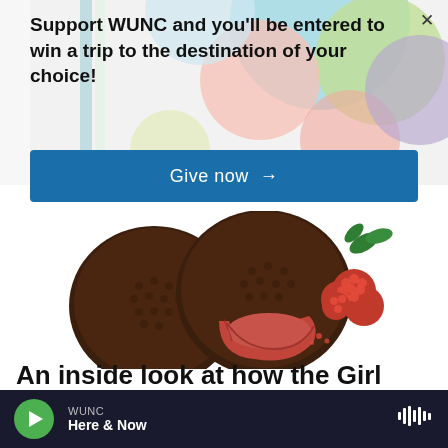Support WUNC and you'll be entered to win a trip to the destination of your choice!
Give now →
[Figure (photo): Two round chocolate-covered raspberry cream cookies, one whole and one with a bite taken out showing pink raspberry filling, with fresh raspberries on the right side and a green mint leaf garnish]
An inside look at how the Girl
WUNC Here & Now